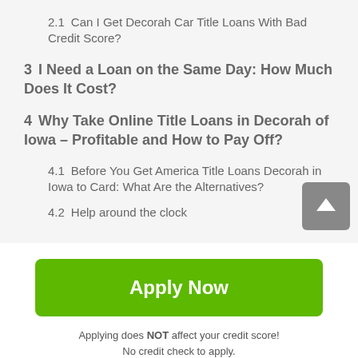2.1  Can I Get Decorah Car Title Loans With Bad Credit Score?
3  I Need a Loan on the Same Day: How Much Does It Cost?
4  Why Take Online Title Loans in Decorah of Iowa – Profitable and How to Pay Off?
4.1  Before You Get America Title Loans Decorah in Iowa to Card: What Are the Alternatives?
4.2  Help around the clock
[Figure (other): Scroll-to-top button with upward arrow icon]
Apply Now
Applying does NOT affect your credit score!
No credit check to apply.